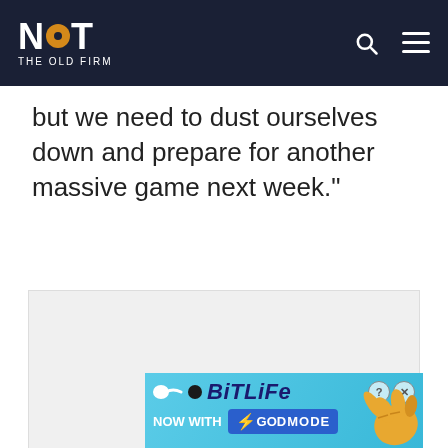NOT THE OLD FIRM
but we need to dust ourselves down and prepare for another massive game next week."
[Figure (other): Advertisement placeholder block with 'Ad' label in center, close button (X) in bottom right]
[Figure (other): BitLife game advertisement banner - 'NOW WITH GOD MODE' promotional banner with hand pointing graphic]